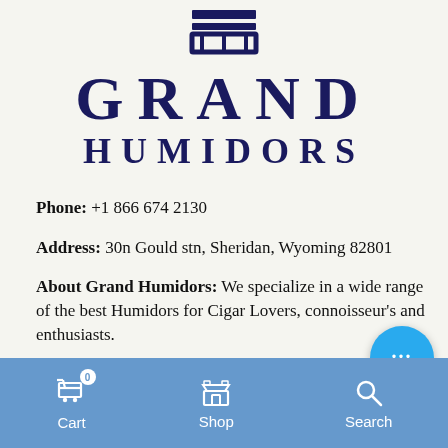[Figure (logo): Grand Humidors logo with crown/basket icon at top, followed by GRAND in large serif letters and HUMIDORS in smaller spaced serif letters, all in dark navy blue]
Phone: +1 866 674 2130
Address: 30n Gould stn, Sheridan, Wyoming 82801
About Grand Humidors: We specialize in a wide range of the best Humidors for Cigar Lovers, connoisseur's and enthusiasts.
Cart  Shop  Search